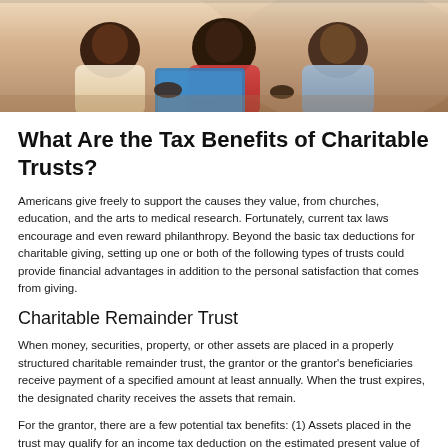[Figure (photo): Group of people sitting together, appearing to be in a meeting or consultation, with one person holding a blue folder or tablet.]
What Are the Tax Benefits of Charitable Trusts?
Americans give freely to support the causes they value, from churches, education, and the arts to medical research. Fortunately, current tax laws encourage and even reward philanthropy. Beyond the basic tax deductions for charitable giving, setting up one or both of the following types of trusts could provide financial advantages in addition to the personal satisfaction that comes from giving.
Charitable Remainder Trust
When money, securities, property, or other assets are placed in a properly structured charitable remainder trust, the grantor or the grantor's beneficiaries receive payment of a specified amount at least annually. When the trust expires, the designated charity receives the assets that remain.
For the grantor, there are a few potential tax benefits: (1) Assets placed in the trust may qualify for an income tax deduction on the estimated present value of the remainder interest that will eventually go to charity. (2) At death, trust assets are not subject to estate taxes